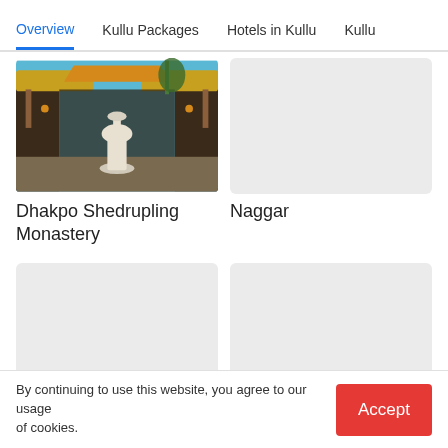Overview | Kullu Packages | Hotels in Kullu | Kullu
[Figure (photo): Dhakpo Shedrupling Monastery gate with ornate decorations and a white vase-shaped stupa]
Dhakpo Shedrupling Monastery
[Figure (photo): Naggar - placeholder grey image]
Naggar
[Figure (photo): Trekking in Kullu - placeholder grey image]
Trekking in Kullu
[Figure (photo): Jagannathi Devi Temple - placeholder grey image]
Jagannathi Devi Temple
By continuing to use this website, you agree to our usage of cookies.